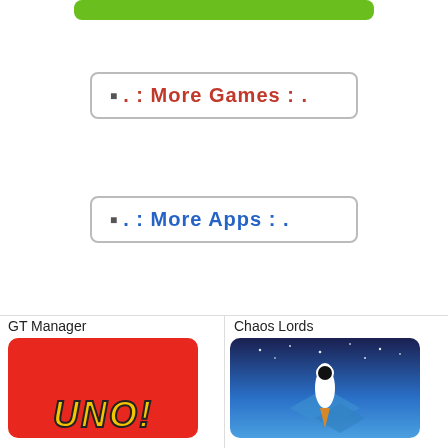[Figure (other): Green rounded button bar at top]
□ . : More Games : .
□ . : More Apps : .
GT Manager
[Figure (illustration): App icon placeholder for GT Manager (blank/grey)]
Chaos Lords
[Figure (illustration): App icon placeholder for Chaos Lords (blank/grey)]
[Figure (illustration): UNO! game icon — red background with yellow UNO! logo text]
[Figure (illustration): Chaos Lords game icon — night sky with rocket and character silhouette]